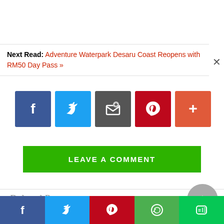Next Read: Adventure Waterpark Desaru Coast Reopens with RM50 Day Pass »
[Figure (infographic): Social share buttons: Facebook (blue), Twitter (light blue), Email (dark gray), Pinterest (red), More (orange-red)]
LEAVE A COMMENT
Related Post
[Figure (infographic): Bottom social share bar: Facebook, Twitter, Pinterest, WhatsApp, LINE]